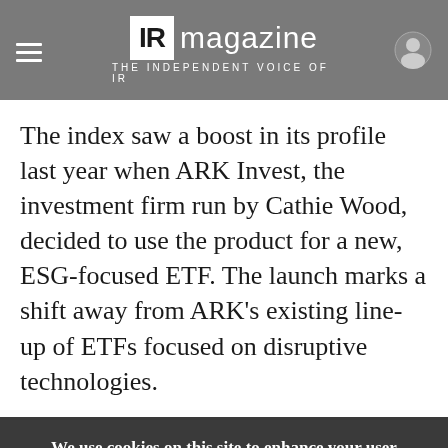IR magazine — THE INDEPENDENT VOICE OF IR
The index saw a boost in its profile last year when ARK Invest, the investment firm run by Cathie Wood, decided to use the product for a new, ESG-focused ETF. The launch marks a shift away from ARK's existing line-up of ETFs focused on disruptive technologies.
We use cookies on this site to enhance your user experience. By clicking any link on this page you are giving your consent for us to set cookies.
OK, I AGREE